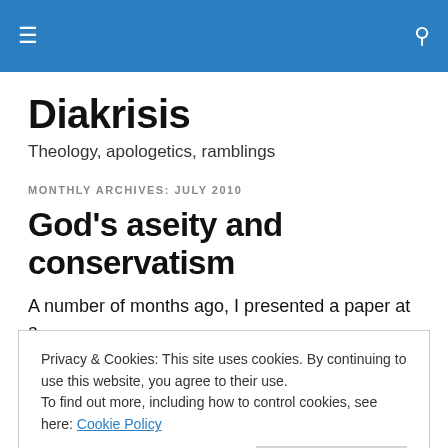≡  🔍
Diakrisis
Theology, apologetics, ramblings
MONTHLY ARCHIVES: JULY 2010
God's aseity and conservatism
A number of months ago, I presented a paper at a
Privacy & Cookies: This site uses cookies. By continuing to use this website, you agree to their use.
To find out more, including how to control cookies, see here: Cookie Policy
and my notes are available from the CWS website.